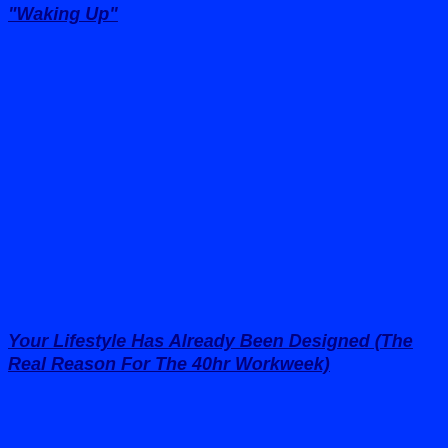"Waking Up"
Your Lifestyle Has Already Been Designed (The Real Reason For The 40hr Workweek)